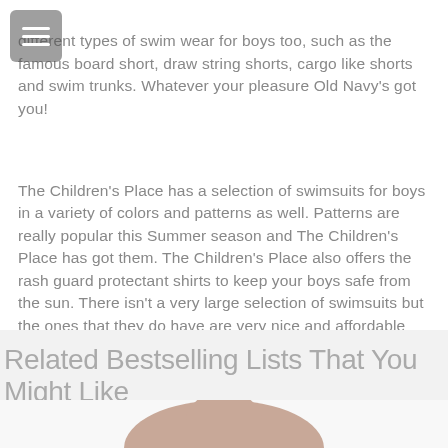different types of swim wear for boys too, such as the famous board short, draw string shorts, cargo like shorts and swim trunks. Whatever your pleasure Old Navy's got you!
The Children's Place has a selection of swimsuits for boys in a variety of colors and patterns as well. Patterns are really popular this Summer season and The Children's Place has got them. The Children's Place also offers the rash guard protectant shirts to keep your boys safe from the sun. There isn't a very large selection of swimsuits but the ones that they do have are very nice and affordable and you will be sure to find one that suits your needs. You can also order online here for more of a selection.
Related Bestselling Lists That You Might Like
[Figure (photo): Partial photo of a woman with dark hair, cropped at bottom of page]